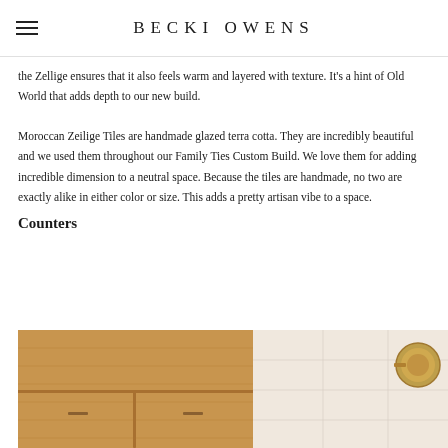BECKI OWENS
the Zellige ensures that it also feels warm and layered with texture. It's a hint of Old World that adds depth to our new build.
Moroccan Zeilige Tiles are handmade glazed terra cotta. They are incredibly beautiful and we used them throughout our Family Ties Custom Build. We love them for adding incredible dimension to a neutral space. Because the tiles are handmade, no two are exactly alike in either color or size. This adds a pretty artisan vibe to a space.
Counters
[Figure (photo): Wooden bathroom cabinet with natural light oak finish, with a gold/brass sconce visible on the right side against a light tile wall]